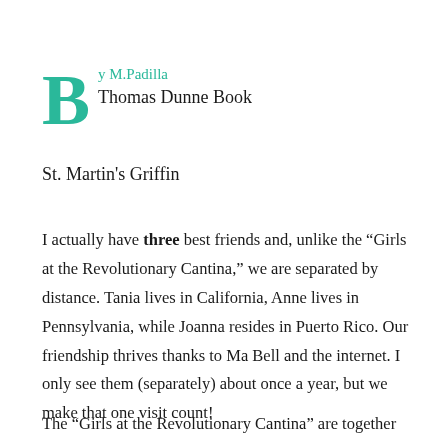By M.Padilla
Thomas Dunne Book
St. Martin's Griffin
I actually have three best friends and, unlike the “Girls at the Revolutionary Cantina,” we are separated by distance. Tania lives in California, Anne lives in Pennsylvania, while Joanna resides in Puerto Rico. Our friendship thrives thanks to Ma Bell and the internet. I only see them (separately) about once a year, but we make that one visit count!
The “Girls at the Revolutionary Cantina” are together